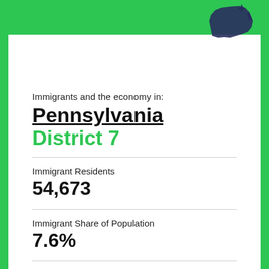[Figure (illustration): Green header bar with Pennsylvania state map silhouette icon in dark green/navy on the right side]
Immigrants and the economy in:
Pennsylvania District 7
Immigrant Residents
54,673
Immigrant Share of Population
7.6%
Immigrant Taxes Paid
$829.6M